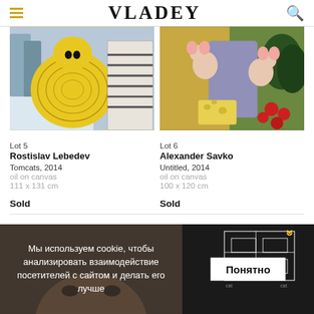VLADEY
[Figure (photo): Painting of a large yellow cat with intricate swirl patterns (Tomcats, 2014 by Rostislav Lebedev), oil on canvas]
[Figure (photo): Painting of anthropomorphized mice (Tom and Jerry style) seated in a classical pose (Untitled, 2014 by Alexander Savko), oil on canvas]
Lot 5
Rostislav Lebedev
Tomcats, 2014
oil on canvas
111 x 131 cm
Sold
Lot 6
Alexander Savko
Untitled, 2014
oil on canvas
100 x 120 cm
Sold
Мы используем cookie, чтобы анализировать взаимодействие посетителей с сайтом и делать его лучше
Понятно